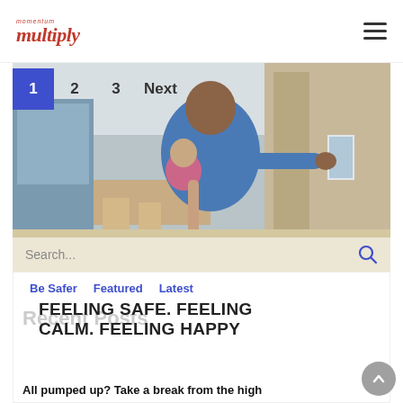momentum multiply
[Figure (screenshot): A man holding a baby presses a smart home touchscreen panel on the wall of a modern apartment. Pagination shows: 1 (active, blue), 2, 3, Next. Search bar overlaid at bottom.]
Be Safer   Featured   Latest
Recent Posts
FEELING SAFE. FEELING CALM. FEELING HAPPY
All pumped up? Take a break from the high